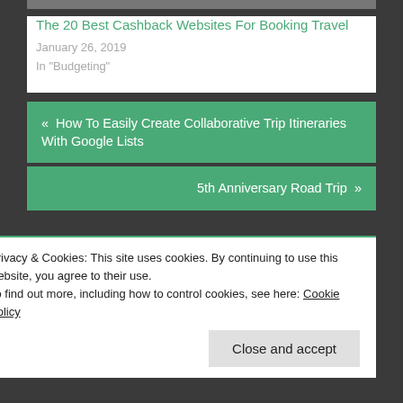[Figure (photo): Top portion of a travel photo (partially visible at top of page)]
The 20 Best Cashback Websites For Booking Travel
January 26, 2019
In "Budgeting"
« How To Easily Create Collaborative Trip Itineraries With Google Lists
5th Anniversary Road Trip »
Privacy & Cookies: This site uses cookies. By continuing to use this website, you agree to their use.
To find out more, including how to control cookies, see here: Cookie Policy
Close and accept